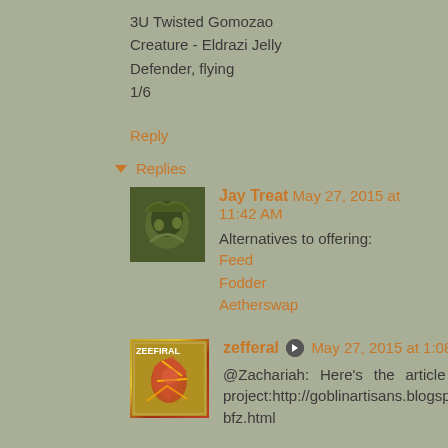3U Twisted Gomozao
Creature - Eldrazi Jelly
Defender, flying
1/6
Reply
▾ Replies
Jay Treat  May 27, 2015 at 11:42 AM
Alternatives to offering:
Feed
Fodder
Aetherswap
zefferal  May 27, 2015 at 1:08 PM
@Zachariah: Here's the article where I summarized the project:http://goblinartisans.blogspot.com/2015/04/introducing-bfz.html